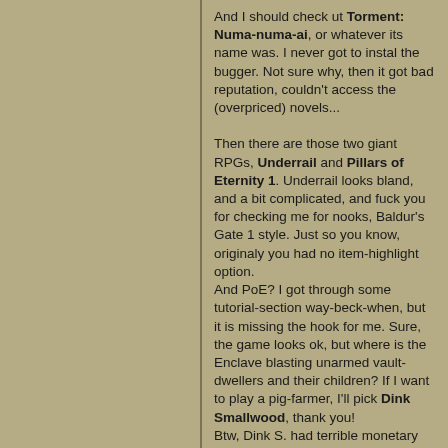And I should check ut Torment: Numa-numa-ai, or whatever its name was. I never got to instal the bugger. Not sure why, then it got bad reputation, couldn't access the (overpriced) novels...
Then there are those two giant RPGs, Underrail and Pillars of Eternity 1. Underrail looks bland, and a bit complicated, and fuck you for checking me for nooks, Baldur's Gate 1 style. Just so you know, originaly you had no item-highlight option.
And PoE? I got through some tutorial-section way-beck-when, but it is missing the hook for me. Sure, the game looks ok, but where is the Enclave blasting unarmed vault-dwellers and their children? If I want to play a pig-farmer, I'll pick Dink Smallwood, thank you!
Btw, Dink S. had terrible monetary system if you wanned to use bows. I've beaten the entire game TWICE and still could not afford the best bow, that's how ridiculous its price.
So I'm realy like: gimme blasted